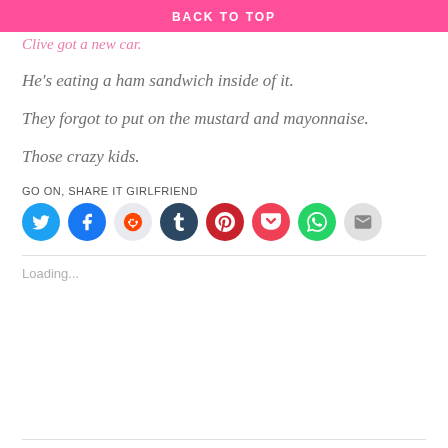BACK TO TOP
Clive got a new car.
He's eating a ham sandwich inside of it.
They forgot to put on the mustard and mayonnaise.
Those crazy kids.
GO ON, SHARE IT GIRLFRIEND
[Figure (infographic): Row of 8 circular social share buttons: Twitter (blue), Facebook (blue), Reddit (light grey), Tumblr (dark navy), Pinterest (red), Pocket (red-pink), WhatsApp (green), Email (light grey)]
Loading...